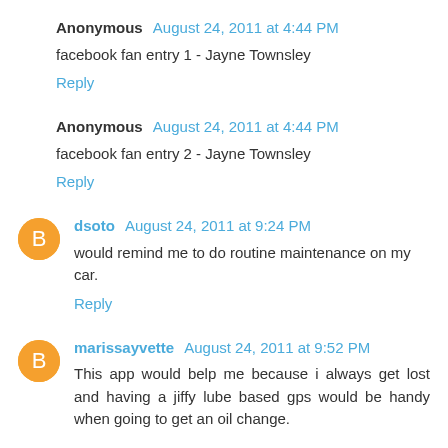Anonymous August 24, 2011 at 4:44 PM
facebook fan entry 1 - Jayne Townsley
Reply
Anonymous August 24, 2011 at 4:44 PM
facebook fan entry 2 - Jayne Townsley
Reply
dsoto August 24, 2011 at 9:24 PM
would remind me to do routine maintenance on my car.
Reply
marissayvette August 24, 2011 at 9:52 PM
This app would belp me because i always get lost and having a jiffy lube based gps would be handy when going to get an oil change.